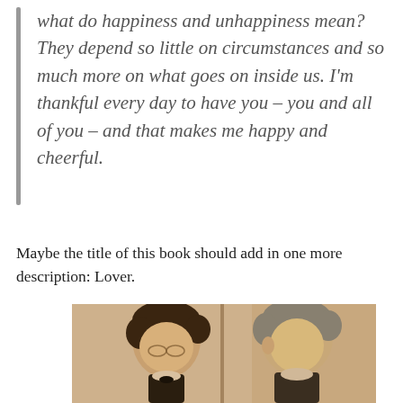what do happiness and unhappiness mean? They depend so little on circumstances and so much more on what goes on inside us. I'm thankful every day to have you – you and all of you – and that makes me happy and cheerful.
Maybe the title of this book should add in one more description: Lover.
[Figure (photo): Sepia-toned black and white photograph of two men, heads bowed downward, appearing to be reading or looking at something together.]